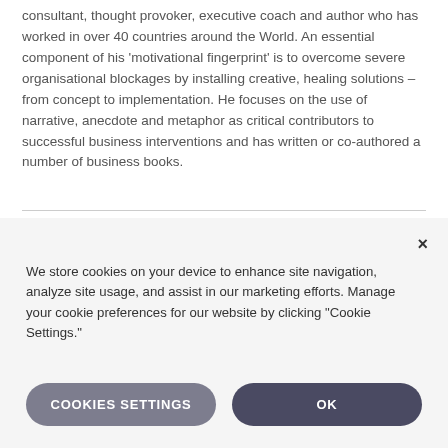consultant, thought provoker, executive coach and author who has worked in over 40 countries around the World. An essential component of his 'motivational fingerprint' is to overcome severe organisational blockages by installing creative, healing solutions – from concept to implementation. He focuses on the use of narrative, anecdote and metaphor as critical contributors to successful business interventions and has written or co-authored a number of business books.
We store cookies on your device to enhance site navigation, analyze site usage, and assist in our marketing efforts. Manage your cookie preferences for our website by clicking "Cookie Settings."
COOKIES SETTINGS
OK